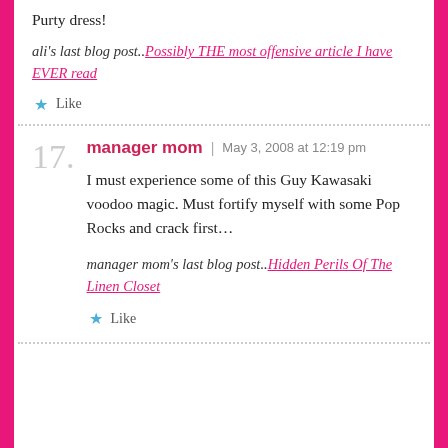Purty dress!
ali's last blog post..Possibly THE most offensive article I have EVER read
Like
17.
manager mom | May 3, 2008 at 12:19 pm
I must experience some of this Guy Kawasaki voodoo magic. Must fortify myself with some Pop Rocks and crack first…
manager mom's last blog post..Hidden Perils Of The Linen Closet
Like